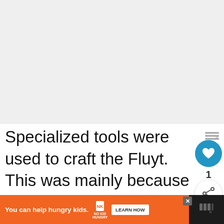[Figure (photo): Large image area placeholder at top of page, appears to be a photo related to Fluyt boat/ship content, shown as light gray background]
Specialized tools were used to craft the Fluyt. This was mainly because the manufacturers wanted to minimize production costs to make them affo... merchants.
[Figure (infographic): What's Next widget with boat anchor image thumbnail and text 'Boat Anchor Types – 7...']
[Figure (infographic): Advertisement banner: 'You can help hungry kids.' with No Kid Hungry logo and LEARN HOW button on orange background]